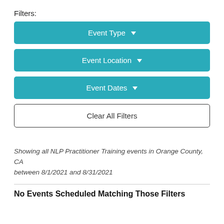Filters:
Event Type ▾
Event Location ▾
Event Dates ▾
Clear All Filters
Showing all NLP Practitioner Training events in Orange County, CA between 8/1/2021 and 8/31/2021
No Events Scheduled Matching Those Filters